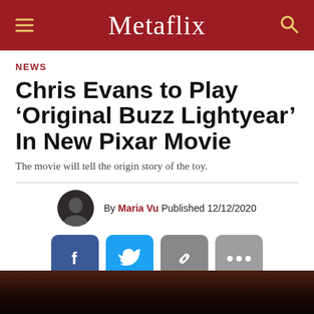Metaflix
NEWS
Chris Evans to Play ‘Original Buzz Lightyear’ In New Pixar Movie
The movie will tell the origin story of the toy.
By Maria Vu Published 12/12/2020
[Figure (other): Dark cinematic image at bottom of page (partial, cropped)]